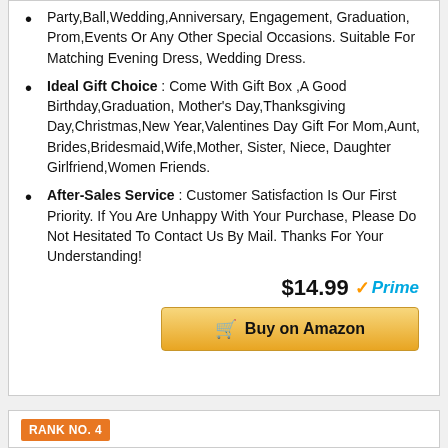Party,Ball,Wedding,Anniversary, Engagement, Graduation, Prom,Events Or Any Other Special Occasions. Suitable For Matching Evening Dress, Wedding Dress.
Ideal Gift Choice : Come With Gift Box ,A Good Birthday,Graduation, Mother's Day,Thanksgiving Day,Christmas,New Year,Valentines Day Gift For Mom,Aunt, Brides,Bridesmaid,Wife,Mother, Sister, Niece, Daughter Girlfriend,Women Friends.
After-Sales Service : Customer Satisfaction Is Our First Priority. If You Are Unhappy With Your Purchase, Please Do Not Hesitated To Contact Us By Mail. Thanks For Your Understanding!
$14.99 Prime
Buy on Amazon
RANK NO. 4